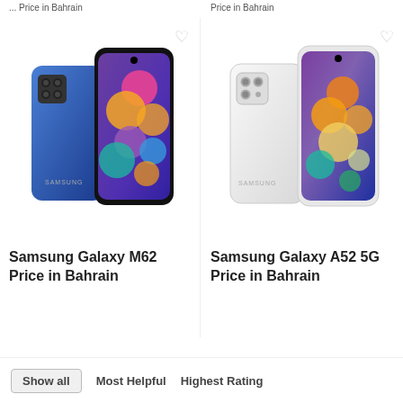... Price in Bahrain    Price in Bahrain
[Figure (photo): Samsung Galaxy M62 smartphone product photo showing front and back views with colorful bubble wallpaper]
[Figure (photo): Samsung Galaxy A52 5G smartphone product photo showing front and back views with colorful wallpaper]
Samsung Galaxy M62 Price in Bahrain
Samsung Galaxy A52 5G Price in Bahrain
Show all   Most Helpful   Highest Rating